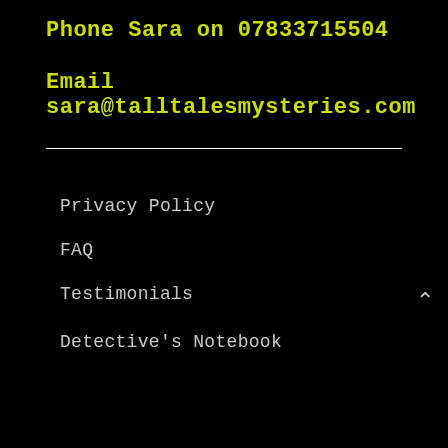Phone Sara on 07833715504
Email sara@talltalesmysteries.com
Privacy Policy
FAQ
Testimonials
Detective's Notebook